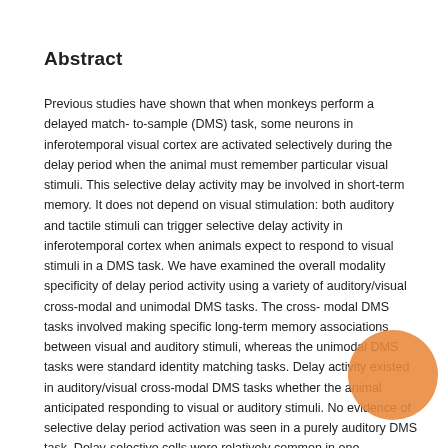Abstract
Previous studies have shown that when monkeys perform a delayed match- to-sample (DMS) task, some neurons in inferotemporal visual cortex are activated selectively during the delay period when the animal must remember particular visual stimuli. This selective delay activity may be involved in short-term memory. It does not depend on visual stimulation: both auditory and tactile stimuli can trigger selective delay activity in inferotemporal cortex when animals expect to respond to visual stimuli in a DMS task. We have examined the overall modality specificity of delay period activity using a variety of auditory/visual cross-modal and unimodal DMS tasks. The cross- modal DMS tasks involved making specific long-term memory associations between visual and auditory stimuli, whereas the unimodal DMS tasks were standard identity matching tasks. Delay activity existed in auditory/visual cross-modal DMS tasks whether the animal anticipated responding to visual or auditory stimuli. No evidence of selective delay period activation was seen in a purely auditory DMS task. Delay-selective cells were relatively common in one